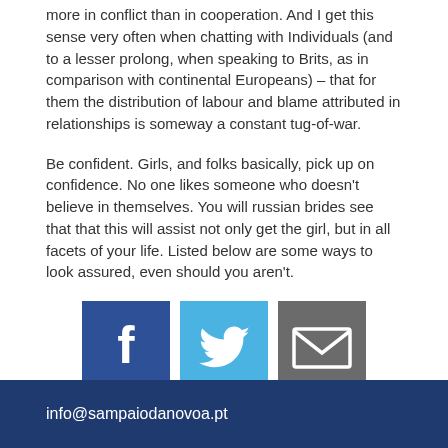more in conflict than in cooperation. And I get this sense very often when chatting with Individuals (and to a lesser prolong, when speaking to Brits, as in comparison with continental Europeans) – that for them the distribution of labour and blame attributed in relationships is someway a constant tug-of-war.
Be confident. Girls, and folks basically, pick up on confidence. No one likes someone who doesn't believe in themselves. You will russian brides see that that this will assist not only get the girl, but in all facets of your life. Listed below are some ways to look assured, even should you aren't.
[Figure (infographic): Three social media share buttons: Facebook (blue), Twitter (light blue), and Email (grey), displayed as square icons in a row.]
info@sampaiodanovoa.pt